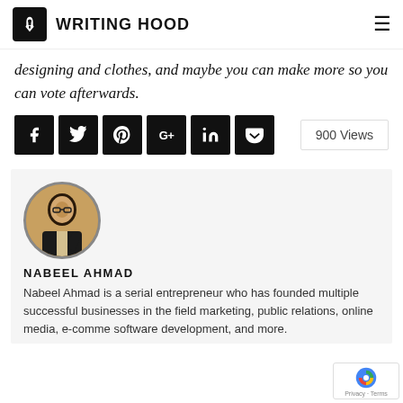WRITING HOOD
designing and clothes, and maybe you can make more so you can vote afterwards.
[Figure (infographic): Social media share buttons: Facebook, Twitter, Pinterest, Google+, LinkedIn, Pocket, and a 900 Views counter]
[Figure (photo): Circular profile photo of Nabeel Ahmad, a man in a dark suit talking on a phone]
NABEEL AHMAD
Nabeel Ahmad is a serial entrepreneur who has founded multiple successful businesses in the field of marketing, public relations, online media, e-commerce, software development, and more.